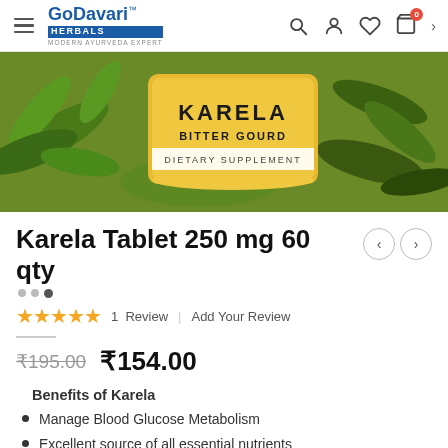GoDavari™ HERBALS MODERN AYURVEDA EXPERT
[Figure (photo): Product image showing Karela Bitter Gourd Dietary Supplement tablet pack with golden label on green herbal background]
Karela Tablet 250 mg 60 qty
★★★★★  1  Review  |  Add Your Review
₹195.00  ₹154.00
Benefits of Karela
Manage Blood Glucose Metabolism
Excellent source of all essential nutrients